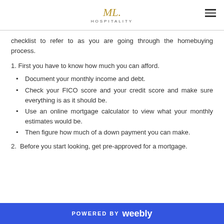ML HOSPITALITY
checklist to refer to as you are going through the homebuying process.
1. First you have to know how much you can afford.
Document your monthly income and debt.
Check your FICO score and your credit score and make sure everything is as it should be.
Use an online mortgage calculator to view what your monthly estimates would be.
Then figure how much of a down payment you can make.
2. Before you start looking, get pre-approved for a mortgage.
POWERED BY weebly